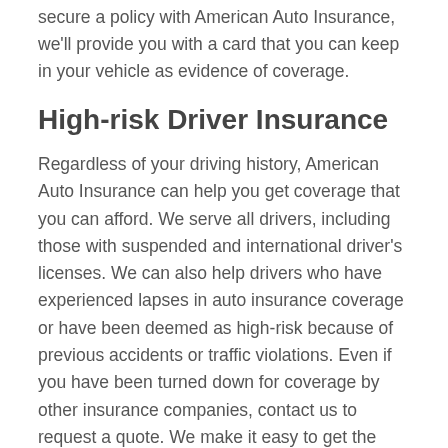secure a policy with American Auto Insurance, we'll provide you with a card that you can keep in your vehicle as evidence of coverage.
High-risk Driver Insurance
Regardless of your driving history, American Auto Insurance can help you get coverage that you can afford. We serve all drivers, including those with suspended and international driver's licenses. We can also help drivers who have experienced lapses in auto insurance coverage or have been deemed as high-risk because of previous accidents or traffic violations. Even if you have been turned down for coverage by other insurance companies, contact us to request a quote. We make it easy to get the coverage you need at a reasonable price.